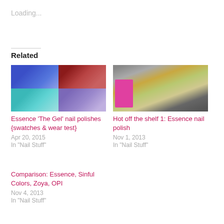Loading...
Related
[Figure (photo): Grid of four nail polish swatches: blue, red/brown, teal, and purple nail polishes]
Essence ‘The Gel’ nail polishes {swatches & wear test}
Apr 20, 2015
In "Nail Stuff"
[Figure (photo): Multiple nail polish bottles arranged on a surface, various colors including orange, green, gold, dark colors, with a pink label visible]
Hot off the shelf 1: Essence nail polish
Nov 1, 2013
In "Nail Stuff"
Comparison: Essence, Sinful Colors, Zoya, OPI
Nov 4, 2013
In "Nail Stuff"